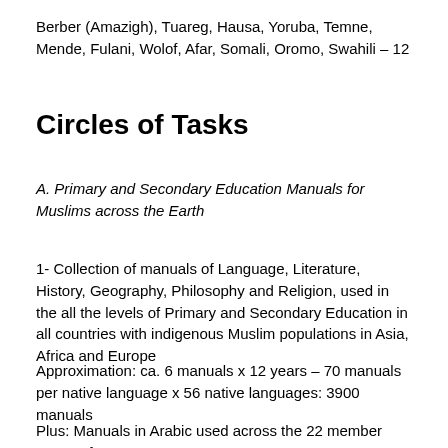Berber (Amazigh), Tuareg, Hausa, Yoruba, Temne, Mende, Fulani, Wolof, Afar, Somali, Oromo, Swahili – 12
Circles of Tasks
A. Primary and Secondary Education Manuals for Muslims across the Earth
1- Collection of manuals of Language, Literature, History, Geography, Philosophy and Religion, used in the all the levels of Primary and Secondary Education in all countries with indigenous Muslim populations in Asia, Africa and Europe
Approximation: ca. 6 manuals x 12 years – 70 manuals per native language x 56 native languages: 3900 manuals
Plus: Manuals in Arabic used across the 22 member states of